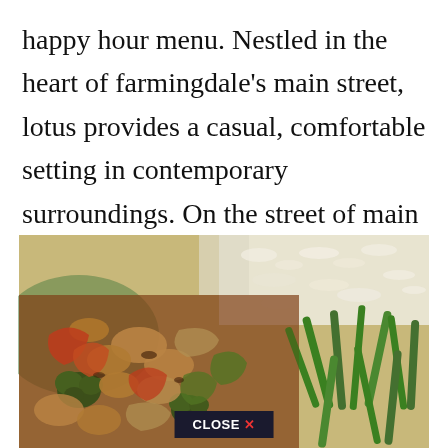happy hour menu. Nestled in the heart of farmingdale's main street, lotus provides a casual, comfortable setting in contemporary surroundings. On the street of main street and street number is 252.
[Figure (photo): Close-up photo of Asian stir-fry dish with chicken, vegetables (broccoli, bell peppers, onions, green beans), and white rice. A 'CLOSE X' button overlay appears at the bottom center.]